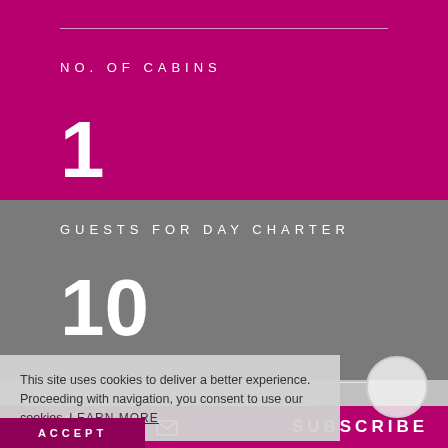NO. OF CABINS
1
GUESTS FOR DAY CHARTER
10
GUESTS FOR OVERNIGHT
This site uses cookies to deliver a better experience. Proceeding with navigation, you consent to use our cookies. LEARN MORE
ACCEPT
SUBSCRIBE